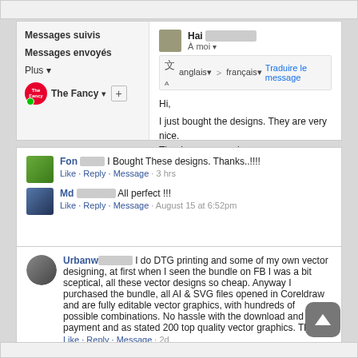[Figure (screenshot): Top gray strip from a webpage/app interface]
[Figure (screenshot): Email interface card showing Messages suivis, Messages envoyés, Plus, The Fancy label on left; email from Hai Nguyen on right with translation bar and message: Hi, I just bought the designs. They are very nice. Thank you so much,]
[Figure (screenshot): Facebook comment card 1: Fon [blur] 'I Bought These designs. Thanks..!!!!' Like · Reply · Message · 3 hrs; Md [blur] 'All perfect !!!' Like · Reply · Message · August 15 at 6:52pm]
[Figure (screenshot): Facebook comment card 2: Urbanw[blur] 'I do DTG printing and some of my own vector designing, at first when I seen the bundle on FB I was a bit sceptical, all these vector designs so cheap. Anyway I purchased the bundle, all AI & SVG files opened in Coreldraw and are fully editable vector graphics, with hundreds of possible combinations. No hassle with the download and payment and as stated 200 top quality vector graphics. Thanks' Like · Reply · Message · 2d]
[Figure (screenshot): Bottom gray strip]